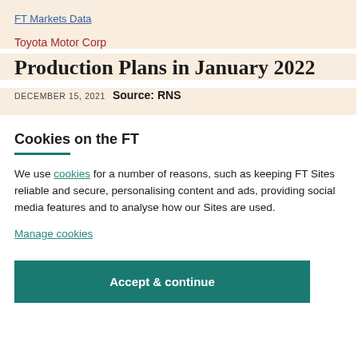FT Markets Data
Toyota Motor Corp
Production Plans in January 2022
DECEMBER 15, 2021  Source: RNS
Cookies on the FT
We use cookies for a number of reasons, such as keeping FT Sites reliable and secure, personalising content and ads, providing social media features and to analyse how our Sites are used.
Manage cookies
Accept & continue